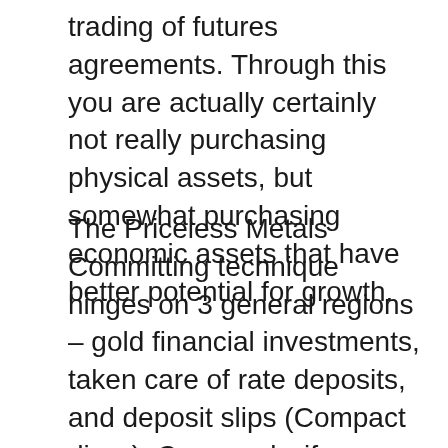trading of futures agreements. Through this you are actually certainly not really purchasing physical assets, but somewhat purchasing economic assets that have better potential for growth.
The Priceless Metals Committing technique hinges on 3 general regions – gold financial investments, taken care of rate deposits, and deposit slips (Compact discs). Commonly, if you are actually starting out in Valuable Metals Committing, you need to concentrate on one location such as bullion or coins. Bullion financial investments stand for bodily gold or silver investments. These financial investments have considerable growth possibility as silver and gold prices tend to boost considerably on time. Certificates of